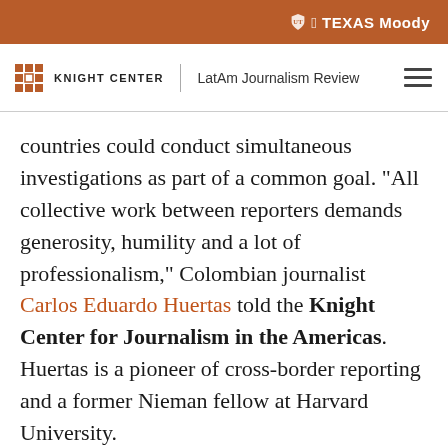TEXAS Moody
KNIGHT CENTER | LatAm Journalism Review
countries could conduct simultaneous investigations as part of a common goal. "All collective work between reporters demands generosity, humility and a lot of professionalism," Colombian journalist Carlos Eduardo Huertas told the Knight Center for Journalism in the Americas. Huertas is a pioneer of cross-border reporting and a former Nieman fellow at Harvard University.